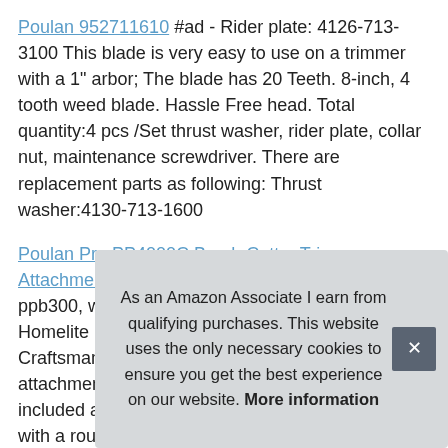Poulan 952711610 #ad - Rider plate: 4126-713-3100 This blade is very easy to use on a trimmer with a 1" arbor; The blade has 20 Teeth. 8-inch, 4 tooth weed blade. Hassle Free head. Total quantity:4 pcs /Set thrust washer, rider plate, collar nut, maintenance screwdriver. There are replacement parts as following: Thrust washer:4130-713-1600
Poulan Pro PP4000C Brush Cutter Trimmer Attachment #ad - Also fits poulan pro ppb100 & ppb300, weed eater, snapper, John Deere, Ryobi, Homelite multi-tool attachment systems, Craftsman, and most other convertible or attachment capable trimmers. Sharpening file included and you will be able to sharpen the teeth with a round file for years of use! Ul listed. Coll... . Ha... sna... syst... max speed is 10,000 rpm's and I would recommend our Heav...
As an Amazon Associate I earn from qualifying purchases. This website uses the only necessary cookies to ensure you get the best experience on our website. More information